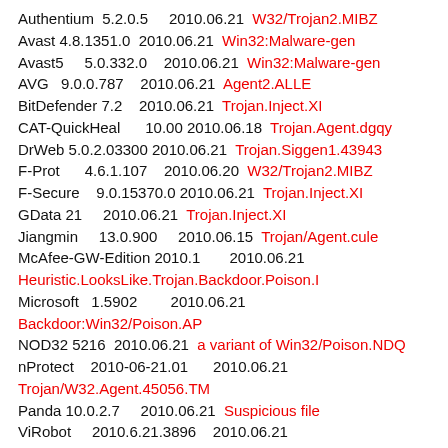Authentium  5.2.0.5    2010.06.21  W32/Trojan2.MIBZ
Avast 4.8.1351.0  2010.06.21  Win32:Malware-gen
Avast5    5.0.332.0   2010.06.21  Win32:Malware-gen
AVG  9.0.0.787   2010.06.21  Agent2.ALLE
BitDefender 7.2   2010.06.21  Trojan.Inject.XI
CAT-QuickHeal    10.00 2010.06.18  Trojan.Agent.dgqy
DrWeb 5.0.2.03300 2010.06.21  Trojan.Siggen1.43943
F-Prot    4.6.1.107   2010.06.20  W32/Trojan2.MIBZ
F-Secure   9.0.15370.0 2010.06.21  Trojan.Inject.XI
GData 21    2010.06.21  Trojan.Inject.XI
Jiangmin    13.0.900    2010.06.15  Trojan/Agent.cule
McAfee-GW-Edition 2010.1     2010.06.21  Heuristic.LooksLike.Trojan.Backdoor.Poison.I
Microsoft  1.5902      2010.06.21  Backdoor:Win32/Poison.AP
NOD32 5216  2010.06.21  a variant of Win32/Poison.NDQ
nProtect   2010-06-21.01    2010.06.21  Trojan/W32.Agent.45056.TM
Panda 10.0.2.7    2010.06.21  Suspicious file
ViRobot    2010.6.21.3896    2010.06.21  Trojan.Win32.Agent.45056.HO